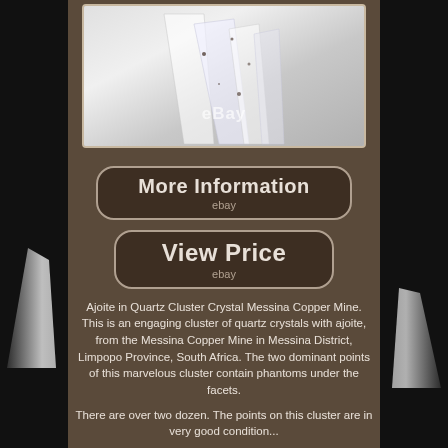[Figure (photo): Photo of Ajoite in Quartz Cluster Crystal from Messina Copper Mine, showing translucent white/clear crystal cluster with inclusions, eBay watermark visible]
More Information
ebay
View Price
ebay
Ajoite in Quartz Cluster Crystal Messina Copper Mine. This is an engaging cluster of quartz crystals with ajoite, from the Messina Copper Mine in Messina District, Limpopo Province, South Africa. The two dominant points of this marvelous cluster contain phantoms under the facets.
There are over two dozen. The points on this cluster are in very good condition...